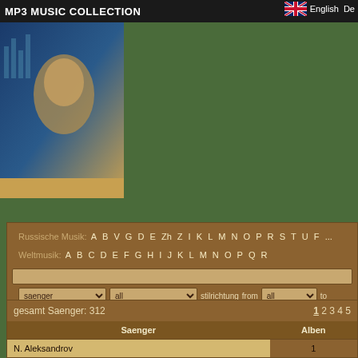MP3 MUSIC COLLECTION   English  De
[Figure (photo): Hero banner image showing a person's face profile against blue/gold background]
Russische Musik: A B V G D E Zh Z I K L M N O P R S T U F
Weltmusik: A B C D E F G H I J K L M N O P Q R
saenger   all   stilrichtung   from   all   to
bitrate   suche
Advertising campaign! Daily free mp3 bonus!
gesamt Saenger: 312   1 2 3 4 5
| Saenger | Alben |
| --- | --- |
| N. Aleksandrov | 1 |